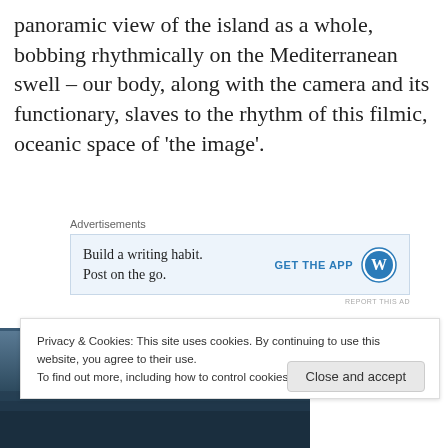panoramic view of the island as a whole, bobbing rhythmically on the Mediterranean swell – our body, along with the camera and its functionary, slaves to the rhythm of this filmic, oceanic space of ‘the image’.
Advertisements
[Figure (screenshot): WordPress advertisement banner: 'Build a writing habit. Post on the go.' with GET THE APP button and WordPress logo]
[Figure (photo): Partial photo of an island or coastal scene on the Mediterranean, dark blue-grey tones, partially obscured by cookie consent banner]
Privacy & Cookies: This site uses cookies. By continuing to use this website, you agree to their use.
To find out more, including how to control cookies, see here: Cookie Policy
Close and accept